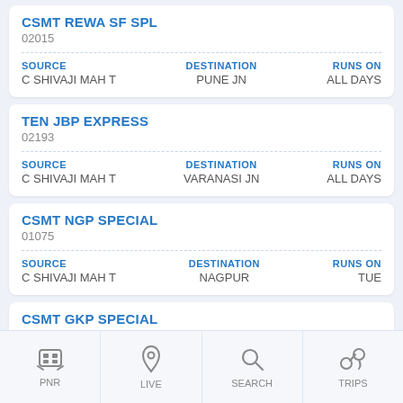CSMT REWA SF SPL
02015
SOURCE: C SHIVAJI MAH T | DESTINATION: PUNE JN | RUNS ON: ALL DAYS
TEN JBP EXPRESS
02193
SOURCE: C SHIVAJI MAH T | DESTINATION: VARANASI JN | RUNS ON: ALL DAYS
CSMT NGP SPECIAL
01075
SOURCE: C SHIVAJI MAH T | DESTINATION: NAGPUR | RUNS ON: TUE
CSMT GKP SPECIAL
02598
SOURCE: C SHIVAJI MAH T | DESTINATION: GORAKHPUR | RUNS ON: ...
PNR | LIVE | SEARCH | TRIPS